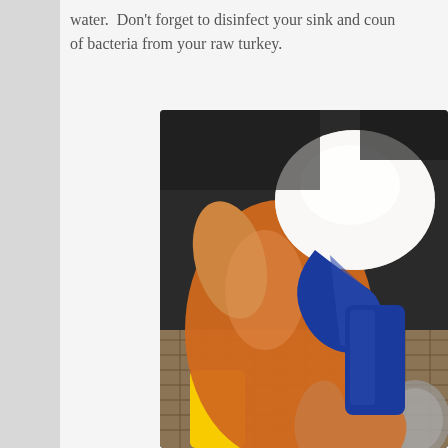water.  Don't forget to disinfect your sink and coun of bacteria from your raw turkey.
[Figure (photo): A close-up photo of a hand holding a yellow spray bottle with a blue trigger, aimed over a tiled kitchen counter/sink area. The photo shows disinfecting a kitchen surface.]